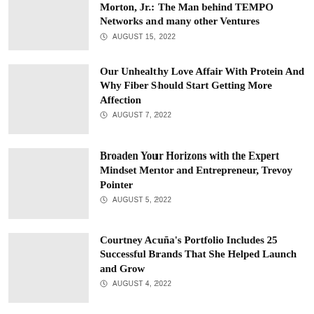Morton, Jr.: The Man behind TEMPO Networks and many other Ventures
AUGUST 15, 2022
Our Unhealthy Love Affair With Protein And Why Fiber Should Start Getting More Affection
AUGUST 7, 2022
Broaden Your Horizons with the Expert Mindset Mentor and Entrepreneur, Trevoy Pointer
AUGUST 5, 2022
Courtney Acuña's Portfolio Includes 25 Successful Brands That She Helped Launch and Grow
AUGUST 4, 2022
How Rena Malik Rose to the Challenge of Fighting the Spread of Misinformation on Urological Diseases